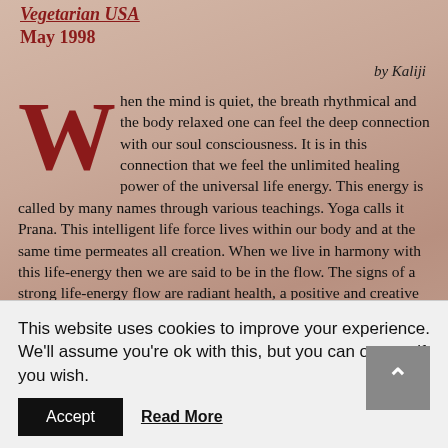Vegetarian USA
May 1998
by Kaliji
When the mind is quiet, the breath rhythmical and the body relaxed one can feel the deep connection with our soul consciousness. It is in this connection that we feel the unlimited healing power of the universal life energy. This energy is called by many names through various teachings. Yoga calls it Prana. This intelligent life force lives within our body and at the same time permeates all creation. When we live in harmony with this life-energy then we are said to be in the flow. The signs of a strong life-energy flow are radiant health, a positive and creative mind, and a deep feeling of peace. The signs of an imbalanced life-energy is a tense body, lack of
This website uses cookies to improve your experience. We'll assume you're ok with this, but you can opt-out if you wish.